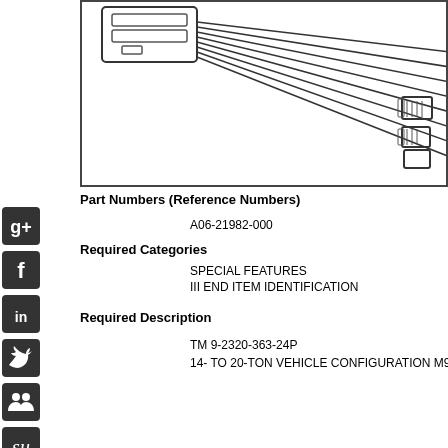[Figure (engineering-diagram): Engineering diagram showing a wiring harness connector assembly with cables and connectors, partially cropped at right edge]
Part Numbers (Reference Numbers)
A06-21982-000
Required Categories
SPECIAL FEATURES
III END ITEM IDENTIFICATION
Required Description
TM 9-2320-363-24P
14- TO 20-TON VEHICLE CONFIGURATION M916A2 M916...